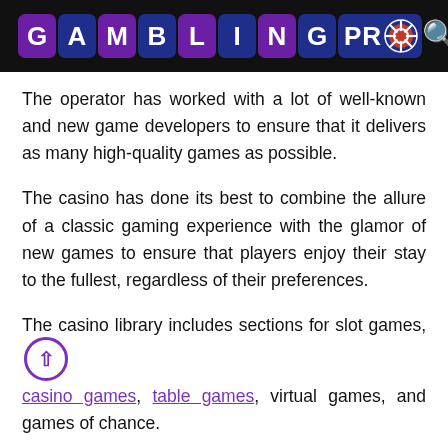GAMBLING PRO [logo with casino chip]
The operator has worked with a lot of well-known and new game developers to ensure that it delivers as many high-quality games as possible.
The casino has done its best to combine the allure of a classic gaming experience with the glamor of new games to ensure that players enjoy their stay to the fullest, regardless of their preferences.
The casino library includes sections for slot games, casino games, table games, virtual games, and games of chance.
Due to the huge amount of games available, the casino offers plenty of sorting options including the ability to